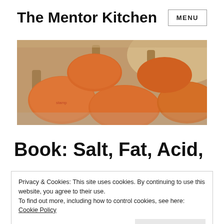The Mentor Kitchen
[Figure (photo): Close-up photograph of brown eggs in a cardboard egg carton, orange-toned, lit from above.]
Book: Salt, Fat, Acid,
Privacy & Cookies: This site uses cookies. By continuing to use this website, you agree to their use.
To find out more, including how to control cookies, see here: Cookie Policy
Close and accept